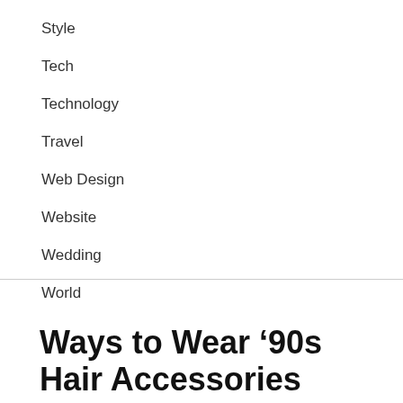Style
Tech
Technology
Travel
Web Design
Website
Wedding
World
Ways to Wear ’90s Hair Accessories Like a Fashion Girl